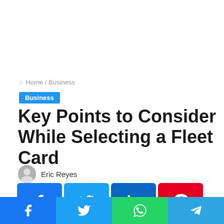Home / Business
Business
Key Points to Consider While Selecting a Fleet Card
Eric Reyes
[Figure (infographic): Social media share buttons: Facebook, Twitter, LinkedIn, Pinterest, Reddit, Skype, Messenger, WhatsApp, Telegram, Tumblr, Line]
[Figure (infographic): Bottom share bar with Facebook, Twitter, WhatsApp, Telegram icons]